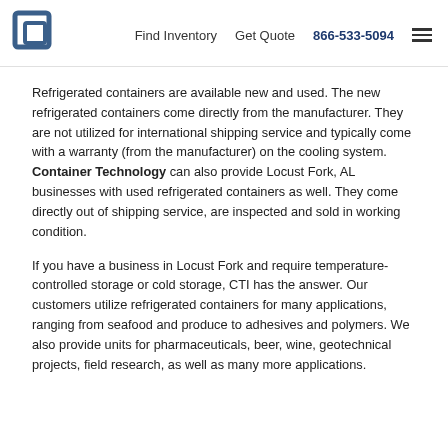Find Inventory  Get Quote  866-533-5094
Refrigerated containers are available new and used.  The new refrigerated containers come directly from the manufacturer.  They are not utilized for international shipping service and typically come with a warranty (from the manufacturer) on the cooling system.  Container Technology can also provide Locust Fork, AL businesses with used refrigerated containers as well. They come directly out of shipping service, are inspected and sold in working condition.
If you have a business in Locust Fork and require temperature-controlled storage or cold storage, CTI has the answer.  Our customers utilize refrigerated containers for many applications, ranging from seafood and produce to adhesives and polymers.  We also provide units for pharmaceuticals, beer, wine, geotechnical projects, field research, as well as many more applications.